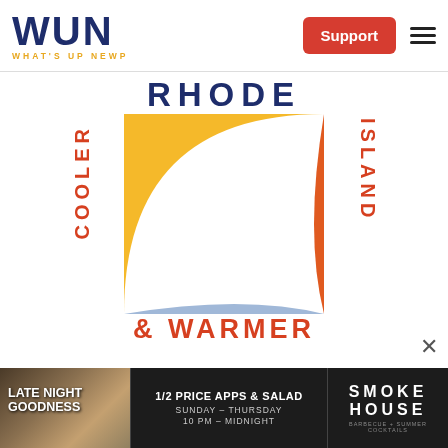[Figure (logo): WUN What's Up Newp logo with dark blue bold letters and gold tagline, Support button in red, hamburger menu icon]
[Figure (infographic): Rhode Island Cooler & Warmer graphic with yellow/white/orange/blue geometric shapes, text RHODE ISLAND vertically on right, COOLER vertically on left, & WARMER at bottom]
[Figure (infographic): Advertisement banner: Late Night Goodness / 1/2 Price Apps & Salad Sunday-Thursday 10PM-Midnight / Smoke House BBQ + Summer Cocktails]